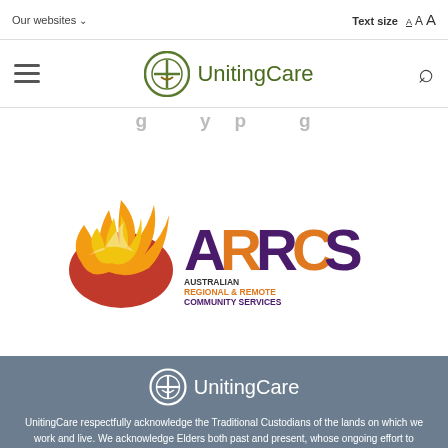Our websites ∨   Text size A A A
[Figure (logo): UnitingCare logo with navigation bar including hamburger menu and search icon]
[Figure (logo): ARRCS (Australian Regional & Remote Community Services) logo with flame/bird graphic]
[Figure (logo): UnitingCare logo in white on gray background in footer]
UnitingCare respectfully acknowledge the Traditional Custodians of the lands on which we work and live. We acknowledge Elders both past and present, whose ongoing effort to protect and promote Aboriginal and Torres Strait Islander cultures will leave a lasting legacy for future leaders and reconciliation within